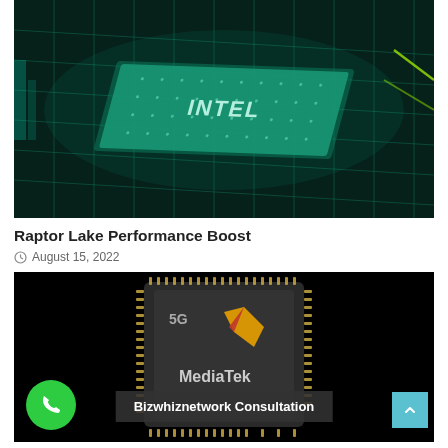[Figure (photo): Close-up 3D render of a circuit board / processor chip with teal and green neon grid lines, labeled with stylized text on a dark background]
Raptor Lake Performance Boost
August 15, 2022
[Figure (photo): MediaTek 5G chip on black background with Bizwhiznetwork Consultation overlay bar, green phone button on left, teal scroll button on right]